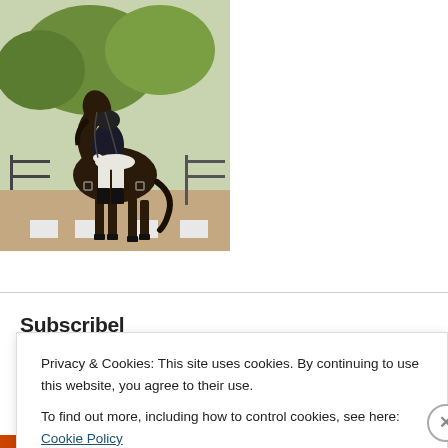[Figure (photo): A rider in black dressage attire on a dark horse in an outdoor arena with trees and fence in the background]
Subscribel
Privacy & Cookies: This site uses cookies. By continuing to use this website, you agree to their use.
To find out more, including how to control cookies, see here: Cookie Policy